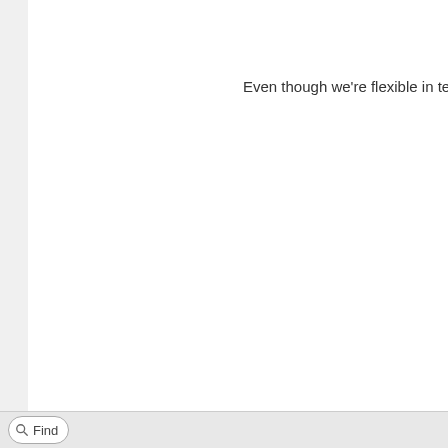Nobility and
Even though we're flexible in terms of your
As part of the bloodline you
Y
Opportunities within both Osm
You are the direct
Edit: birth year miscalculation, aha....... Fixed